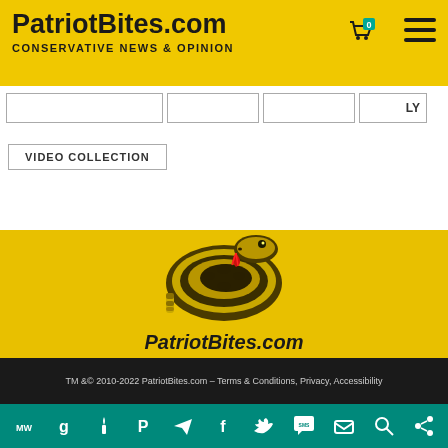PatriotBites.com — CONSERVATIVE NEWS & OPINION
VIDEO COLLECTION
[Figure (logo): PatriotBites.com logo with rattlesnake illustration, text: CONSERVATIVE NEWS & OPINION and PatriotBites.com]
[Figure (infographic): Row of 5 teal social media icon buttons: Parler, MeWe, Telegram, RSS, Gab]
TM & © 2010-2022 PatriotBites.com – Terms & Conditions, Privacy, Accessibility
Bottom teal bar with social icons: MeWe, Gab, torch, Parler, Telegram, Facebook, Twitter, SMS, email, search, share